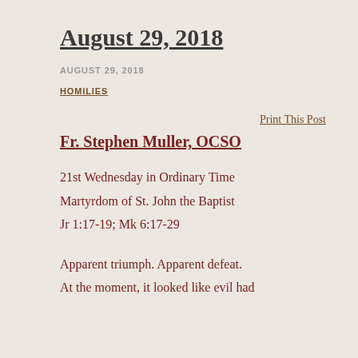August 29, 2018
AUGUST 29, 2018
HOMILIES
Print This Post
Fr. Stephen Muller, OCSO
21st Wednesday in Ordinary Time
Martyrdom of St. John the Baptist
Jr 1:17-19; Mk 6:17-29
Apparent triumph. Apparent defeat.
At the moment, it looked like evil had